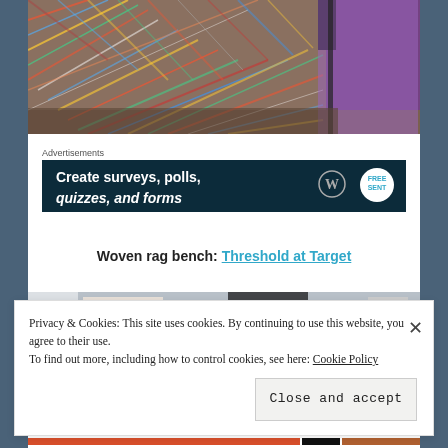[Figure (photo): Close-up of a colorful woven rag bench/ottoman with multicolored textile weave pattern in herringbone style, with purple fabric visible in background.]
Advertisements
[Figure (screenshot): Advertisement banner with dark navy background showing text: 'Create surveys, polls, quizzes, and forms' with WordPress logo and a badge icon.]
Woven rag bench: Threshold at Target
[Figure (photo): Partial view of another interior/furniture photo, cropped at bottom.]
Privacy & Cookies: This site uses cookies. By continuing to use this website, you agree to their use.
To find out more, including how to control cookies, see here: Cookie Policy
Close and accept